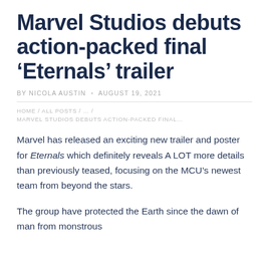Marvel Studios debuts action-packed final ‘Eternals’ trailer
BY NICOLA AUSTIN • AUGUST 19, 2021
HOME / ALL POSTS / … / MARVEL STUDIOS DEBUTS ACTION-PACKED FINAL…
Marvel has released an exciting new trailer and poster for Eternals which definitely reveals A LOT more details than previously teased, focusing on the MCU’s newest team from beyond the stars.
The group have protected the Earth since the dawn of man from monstrous